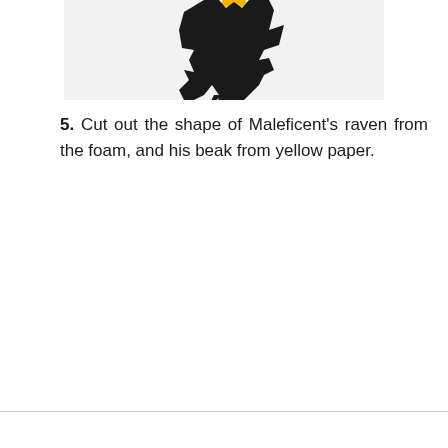[Figure (photo): Partial photo showing a black foam raven cutout shape with jagged tail feathers against a white background, with a small yellow beak visible at top]
5. Cut out the shape of Maleficent's raven from the foam, and his beak from yellow paper.